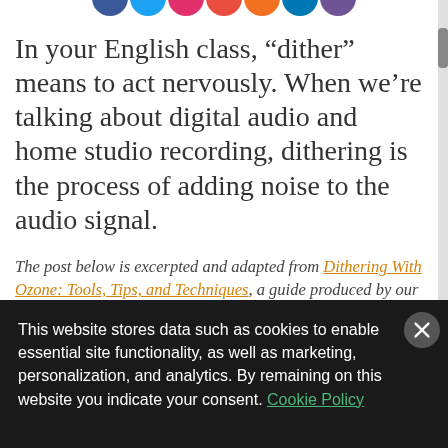[Figure (illustration): Partial view of colorful social media icon circles at the top of the page (Facebook, Twitter, Instagram, Pinterest, and others), cropped]
In your English class, “dither” means to act nervously. When we’re talking about digital audio and home studio recording, dithering is the process of adding noise to the audio signal.
The post below is excerpted and adapted from Dithering With Ozone: Tools, Tips, and Techniques, a guide produced by our friends at iZotope. Reprinted with permission.
This website stores data such as cookies to enable essential site functionality, as well as marketing, personalization, and analytics. By remaining on this website you indicate your consent. Cookie Policy